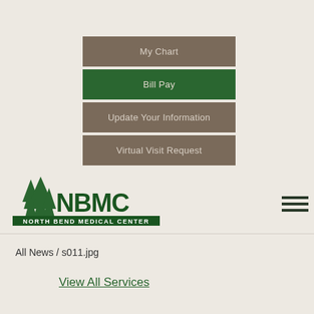My Chart
Bill Pay
Update Your Information
Virtual Visit Request
[Figure (logo): North Bend Medical Center (NBMC) logo with evergreen tree illustration and bold green lettering]
All News  /  s011.jpg
View All Services